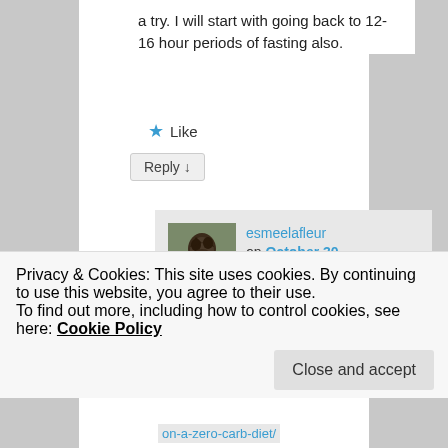a try. I will start with going back to 12-16 hour periods of fasting also.
★ Like
Reply ↓
esmeelafleur on October 30, 2016 at 10:03 AM said:
Zero Carb is not a high protein diet. It is a high fat
Privacy & Cookies: This site uses cookies. By continuing to use this website, you agree to their use.
To find out more, including how to control cookies, see here: Cookie Policy
Close and accept
on-a-zero-carb-diet/